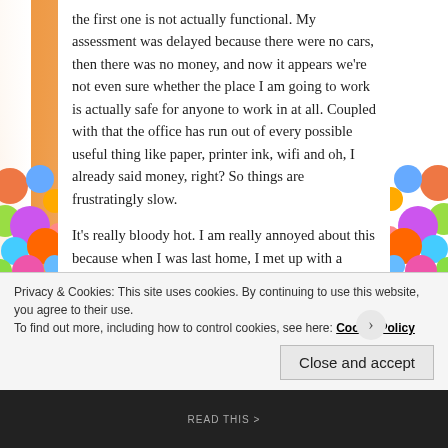the first one is not actually functional. My assessment was delayed because there were no cars, then there was no money, and now it appears we're not even sure whether the place I am going to work is actually safe for anyone to work in at all. Coupled with that the office has run out of every possible useful thing like paper, printer ink, wifi and oh, I already said money, right? So things are frustratingly slow.
It's really bloody hot. I am really annoyed about this because when I was last home, I met up with a friend who I've only ever seen on deployments before. His reaction on seeing me was, 'Wow! You look great! It's so nice to see you in your normal clothes!' When I jokingly asked if that meant I always looked like shit on deployments, he
Privacy & Cookies: This site uses cookies. By continuing to use this website, you agree to their use.
To find out more, including how to control cookies, see here: Cookie Policy
Close and accept